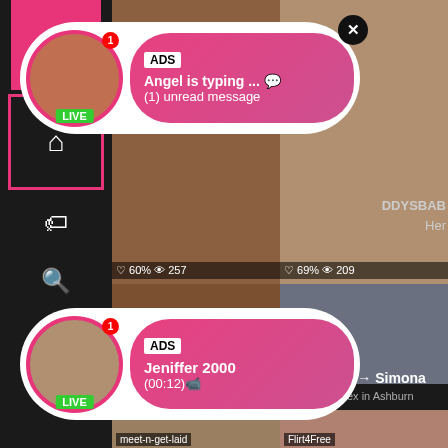[Figure (screenshot): Mobile adult content website screenshot with sidebar navigation, thumbnail grid, and two popup ad overlays showing 'Angel is typing... (1) unread message' and 'Jeniffer 2000 (00:12)' with LIVE badges. Bottom section shows ad labels 'Flirt4Free' and 'milfdate' with titles 'Live Sexy Models' and '? Ashburn → Simona'.]